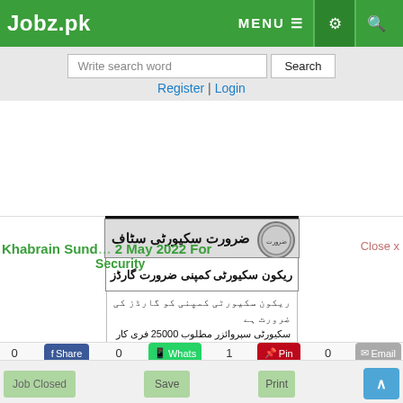Jobz.pk — MENU — navigation icons
Write search word | Search | Register | Login
[Figure (screenshot): Urdu newspaper job advertisement clipping for security guard positions from Khabrain Sunday edition, 22 May 2022, with Urdu text listing job requirements for a security company, including salary ranges 18500-20000, 2000-23000, and contact number 0303-4477707]
Khabrain Sunday Classified 22 May 2022 For Security
Close x
0  0  1  0 — Share WhatsApp Pin Email
Job Closed  Save  Print  ^